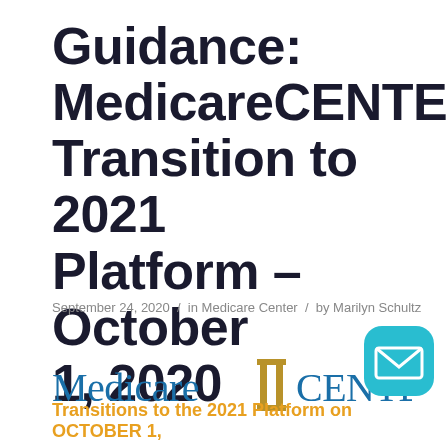Guidance: MedicareCENTER Transition to 2021 Platform – October 1, 2020
September 24, 2020 / in Medicare Center / by Marilyn Schultz
[Figure (logo): MedicareCENTER logo with blue serif text 'Medicare', gold double-I icon, and blue 'CENTER' text]
[Figure (other): Teal rounded square button with white envelope/mail icon]
Transitions to the 2021 Platform on OCTOBER 1,